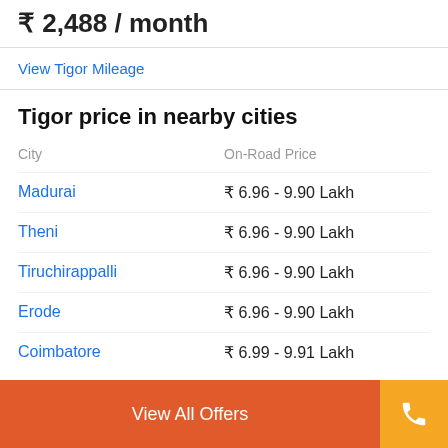₹2,488 / month
View Tigor Mileage
Tigor price in nearby cities
| City | On-Road Price |
| --- | --- |
| Madurai | ₹ 6.96 - 9.90 Lakh |
| Theni | ₹ 6.96 - 9.90 Lakh |
| Tiruchirappalli | ₹ 6.96 - 9.90 Lakh |
| Erode | ₹ 6.96 - 9.90 Lakh |
| Coimbatore | ₹ 6.99 - 9.91 Lakh |
View All Offers